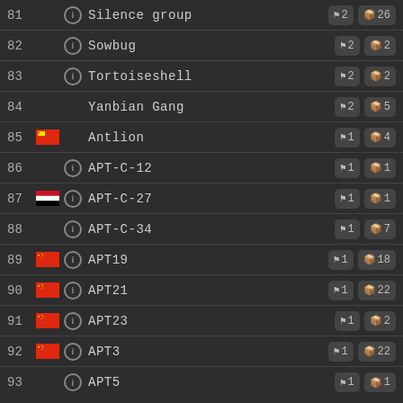| # | Flag | Info | Name | Actors | Tools |
| --- | --- | --- | --- | --- | --- |
| 81 |  | i | Silence group | 2 | 26 |
| 82 |  | i | Sowbug | 2 | 2 |
| 83 |  | i | Tortoiseshell | 2 | 2 |
| 84 |  |  | Yanbian Gang | 2 | 5 |
| 85 | CN |  | Antlion | 1 | 4 |
| 86 |  | i | APT-C-12 | 1 | 1 |
| 87 | SY | i | APT-C-27 | 1 | 1 |
| 88 |  | i | APT-C-34 | 1 | 7 |
| 89 | CN | i | APT19 | 1 | 18 |
| 90 | CN | i | APT21 | 1 | 22 |
| 91 | CN | i | APT23 | 1 | 2 |
| 92 | CN | i | APT3 | 1 | 22 |
| 93 |  | i | APT5 | 1 | 1 |